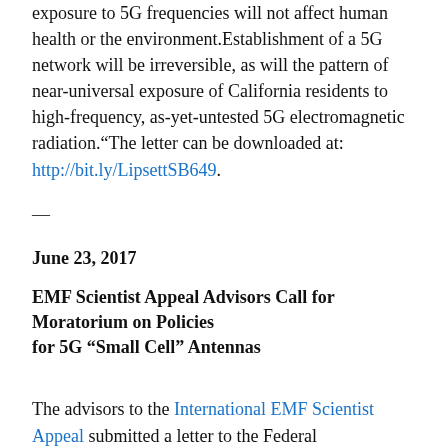exposure to 5G frequencies will not affect human health or the environment. Establishment of a 5G network will be irreversible, as will the pattern of near-universal exposure of California residents to high-frequency, as-yet-untested 5G electromagnetic radiation.“The letter can be downloaded at: http://bit.ly/LipsettSB649.
—
June 23, 2017
EMF Scientist Appeal Advisors Call for Moratorium on Policies for 5G “Small Cell” Antennas
The advisors to the International EMF Scientist Appeal submitted a letter to the Federal Communications Commission (FCC) in opposition to a proposed change